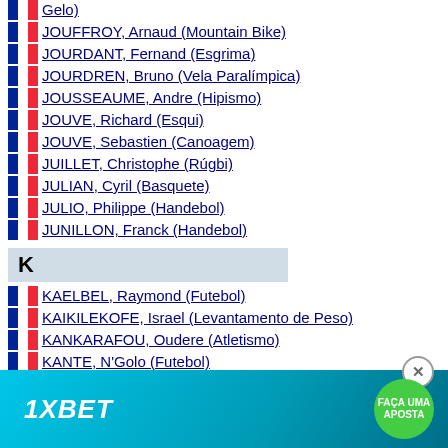JOUFFROY, Arnaud (Mountain Bike)
JOURDANT, Fernand (Esgrima)
JOURDREN, Bruno (Vela Paralímpica)
JOUSSEAUME, Andre (Hipismo)
JOUVE, Richard (Esqui)
JOUVE, Sebastien (Canoagem)
JUILLET, Christophe (Rúgbi)
JULIAN, Cyril (Basquete)
JULIO, Philippe (Handebol)
JUNILLON, Franck (Handebol)
K
KAELBEL, Raymond (Futebol)
KAIKILEKOFE, Israel (Levantamento de Peso)
KANKARAFOU, Oudere (Atletismo)
KANTE, N'Golo (Futebol)
KAPFER, Xavier (Voleibol)
KARABATIC, Luka (Handebol)
KARABATIC, Nikola (Handebol)
KA... (Handebol)
[Figure (other): 1XBET advertisement banner with close button and 'FAÇA UMA APOSTA' green button]